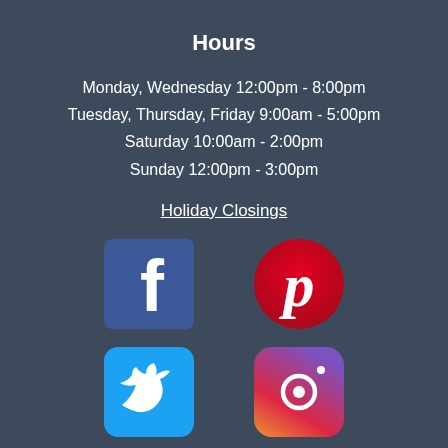Hours
Monday, Wednesday 12:00pm - 8:00pm
Tuesday, Thursday, Friday 9:00am - 5:00pm
Saturday 10:00am - 2:00pm
Sunday 12:00pm - 3:00pm
Holiday Closings
[Figure (logo): Facebook logo - blue square with white 'f' letter]
[Figure (logo): Pinterest logo - red circle with white 'p' letter]
[Figure (logo): Twitter logo - blue rounded square with white bird icon]
[Figure (logo): Instagram logo - gradient rounded square with camera icon]